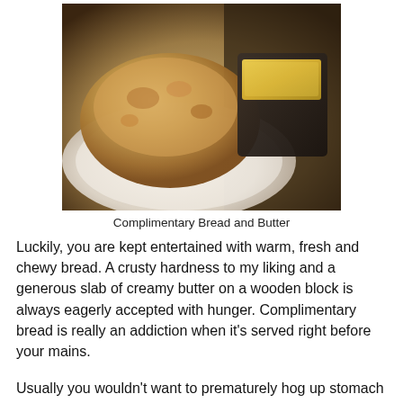[Figure (photo): Photo of complimentary bread on a white plate and a slab of butter on a dark wooden block, warm restaurant lighting]
Complimentary Bread and Butter
Luckily, you are kept entertained with warm, fresh and chewy bread. A crusty hardness to my liking and a generous slab of creamy butter on a wooden block is always eagerly accepted with hunger. Complimentary bread is really an addiction when it's served right before your mains.
Usually you wouldn't want to prematurely hog up stomach space with bread but they really do give you enough time to digest it. We found ourselves craving more and would have enthusiastically asked for more, if we could flag down a